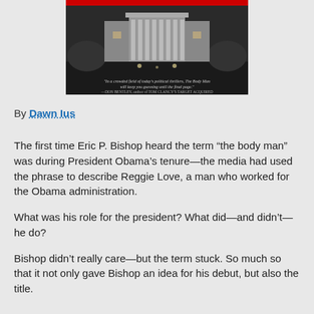[Figure (photo): Book cover of 'The Body Man' showing a night-time photo of the White House with a quote from Don Bentley: 'In a crowded field of today's political thrillers, The Body Man will keep you guessing until the final page.' — DON BENTLEY, author of TOM CLANCY'S TARGET ACQUIRED]
By Dawn Ius
The first time Eric P. Bishop heard the term “the body man” was during President Obama’s tenure—the media had used the phrase to describe Reggie Love, a man who worked for the Obama administration.
What was his role for the president? What did—and didn’t—he do?
Bishop didn’t really care—but the term stuck. So much so that it not only gave Bishop an idea for his debut, but also the title.